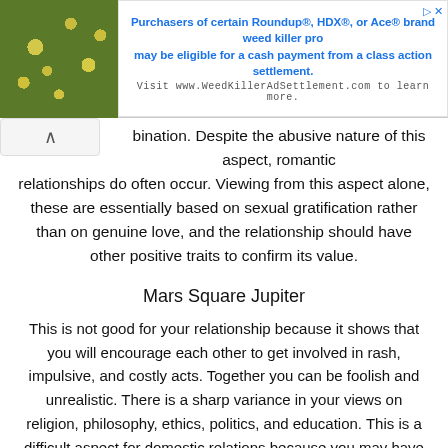[Figure (photo): Advertisement banner with plant/flower image on left and text about Roundup class action settlement on right]
bination. Despite the abusive nature of this aspect, romantic relationships do often occur. Viewing from this aspect alone, these are essentially based on sexual gratification rather than on genuine love, and the relationship should have other positive traits to confirm its value.
Mars Square Jupiter
This is not good for your relationship because it shows that you will encourage each other to get involved in rash, impulsive, and costly acts. Together you can be foolish and unrealistic. There is a sharp variance in your views on religion, philosophy, ethics, politics, and education. This is a difficult aspect for domestic relations because you may have a hard time living with his standards and habits.